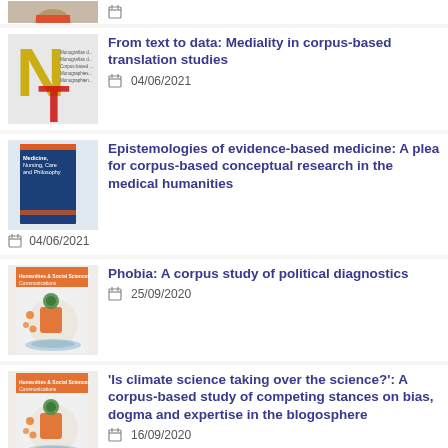[Figure (photo): Partial view of a book cover with a person, cropped at top]
From text to data: Mediality in corpus-based translation studies
04/06/2021
Epistemologies of evidence-based medicine: A plea for corpus-based conceptual research in the medical humanities
04/06/2021
Phobia: A corpus study of political diagnostics
25/09/2020
'Is climate science taking over the science?': A corpus-based study of competing stances on bias, dogma and expertise in the blogosphere
16/09/2020